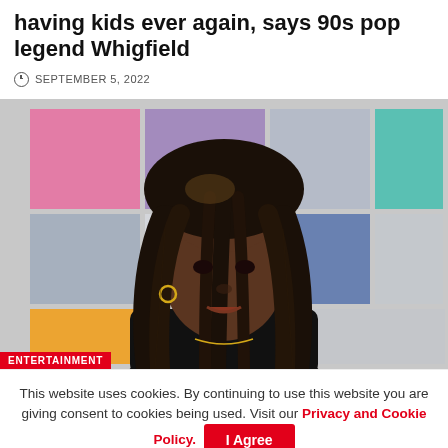having kids ever again, says 90s pop legend Whigfield
SEPTEMBER 5, 2022
[Figure (photo): Young Black woman with long box braids wearing a black top and gold necklace and hoop earrings, posed in front of a colorful grid background with pink, blue, grey, orange, and teal panels. An 'ENTERTAINMENT' label appears in red at the bottom left.]
This website uses cookies. By continuing to use this website you are giving consent to cookies being used. Visit our Privacy and Cookie Policy.